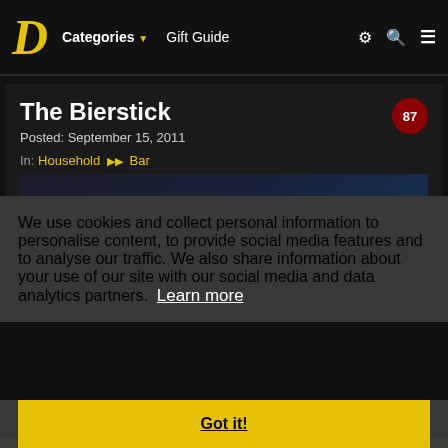D  Categories ▼  Gift Guide  ⚙ 🔍 ≡
The Bierstick
Posted: September 15, 2011
In: Household ➤ Bar
We use cookies and collect personal information to personalise content, to provide social media features and to analyse our traffic. We also share information about your use of our site with our social media and data analytics partners. Learn more
Got it!